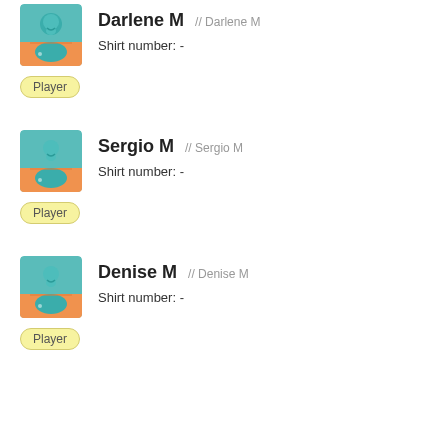[Figure (illustration): Player avatar: teal silhouette head on orange jersey background]
Darlene M // Darlene M
Shirt number: -
Player
[Figure (illustration): Player avatar: teal silhouette head on orange jersey background]
Sergio M // Sergio M
Shirt number: -
Player
[Figure (illustration): Player avatar: teal silhouette head on orange jersey background]
Denise M // Denise M
Shirt number: -
Player